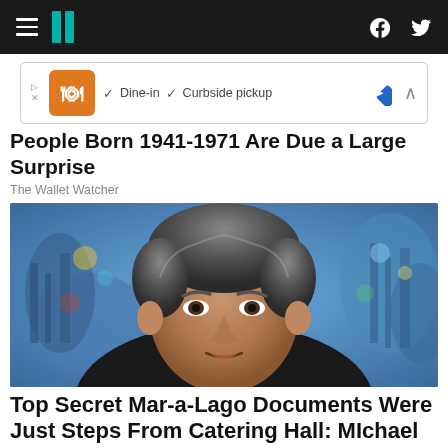HuffPost navigation bar with hamburger menu, logo, Facebook and Twitter icons
[Figure (other): Advertisement banner: restaurant ad showing orange logo, Dine-in checkmark, Curbside pickup checkmark, blue diamond navigation icon, and collapse arrow]
People Born 1941-1971 Are Due a Large Surprise
The Wallet Watcher
[Figure (photo): Photo of Michael Cohen, a middle-aged man with salt-and-pepper hair, wearing a dark suit, with a blurred blue/cityscape background]
Top Secret Mar-a-Lago Documents Were Just Steps From Catering Hall: MIchael Cohen
HuffPost